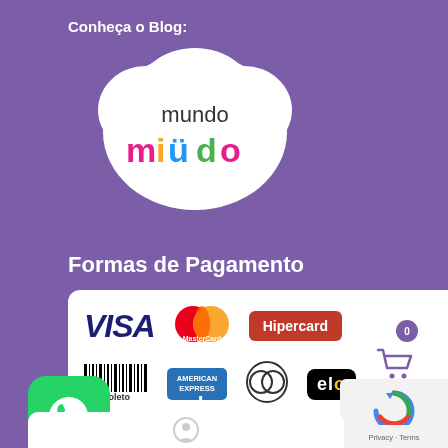Conheça o Blog:
[Figure (logo): Mundo Miudo blog logo - white cloud shape with 'mundo' in dark text and 'miüdo' in colorful letters]
Formas de Pagamento
[Figure (infographic): Payment methods panel showing VISA, MasterCard, Hipercard, Boleto, American Express, Diners Club, and Elo logos on a white rounded rectangle]
ertificados
[Figure (logo): WhatsApp green button icon]
[Figure (logo): Shopping cart button with count bubble]
[Figure (logo): Google reCAPTCHA widget - Privacy Terms]